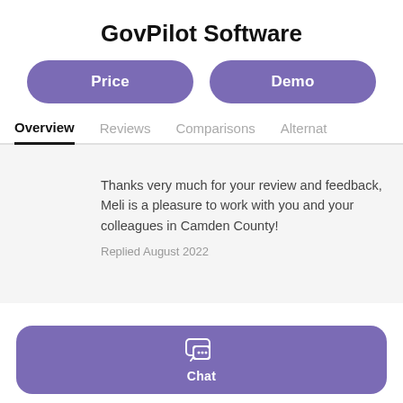GovPilot Software
Price
Demo
Overview
Reviews
Comparisons
Alternat
Thanks very much for your review and feedback, Meli is a pleasure to work with you and your colleagues in Camden County!
Replied August 2022
Chat